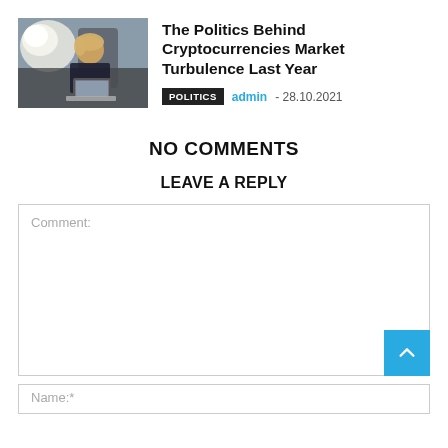[Figure (photo): Woman sitting in airplane seat working on laptop, window light visible]
The Politics Behind Cryptocurrencies Market Turbulence Last Year
POLITICS  admin - 28.10.2021
NO COMMENTS
LEAVE A REPLY
Comment:
Name:*